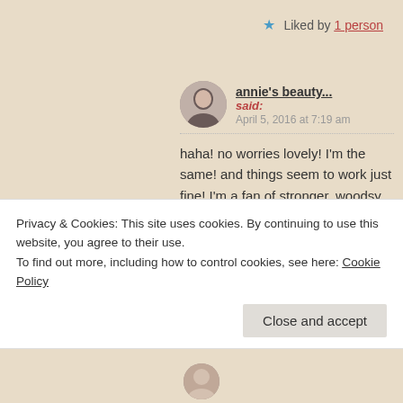★ Liked by 1 person
annie's beauty... said:
April 5, 2016 at 7:19 am
haha! no worries lovely! I'm the same! and things seem to work just fine! I'm a fan of stronger, woodsy, oriental scents anyway and I love everything with amber and all that comes in that family… these perfumes tend to last longer!
Privacy & Cookies: This site uses cookies. By continuing to use this website, you agree to their use.
To find out more, including how to control cookies, see here: Cookie Policy
Close and accept